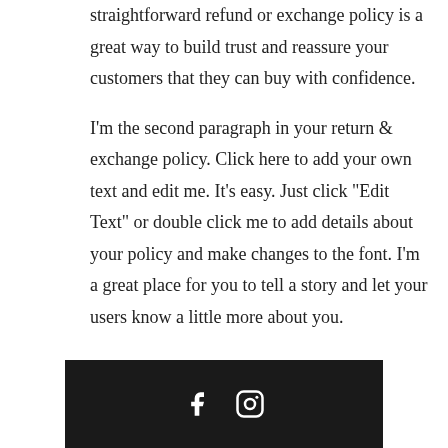straightforward refund or exchange policy is a great way to build trust and reassure your customers that they can buy with confidence.
I'm the second paragraph in your return & exchange policy. Click here to add your own text and edit me. It's easy. Just click "Edit Text" or double click me to add details about your policy and make changes to the font. I'm a great place for you to tell a story and let your users know a little more about you.
[Facebook icon] [Instagram icon]